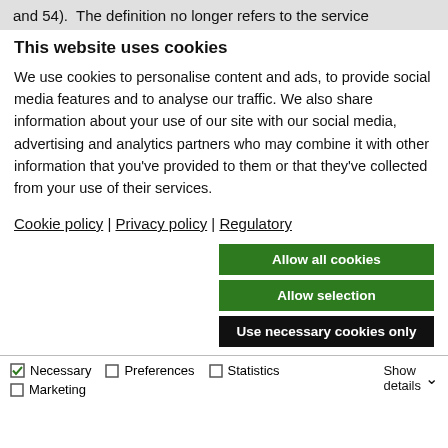and 54).  The definition no longer refers to the service
This website uses cookies
We use cookies to personalise content and ads, to provide social media features and to analyse our traffic. We also share information about your use of our site with our social media, advertising and analytics partners who may combine it with other information that you've provided to them or that they've collected from your use of their services.
Cookie policy | Privacy policy | Regulatory
Allow all cookies
Allow selection
Use necessary cookies only
Necessary   Preferences   Statistics   Marketing   Show details